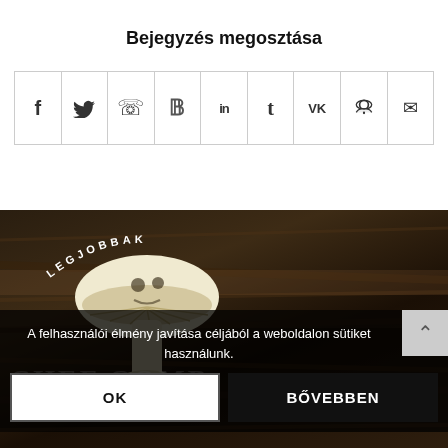Bejegyzés megosztása
[Figure (infographic): Row of 9 social media share icons in bordered cells: Facebook (f), Twitter (bird), WhatsApp, Pinterest (P), LinkedIn (in), Tumblr (t), VK (VK), Reddit, Email (envelope)]
[Figure (photo): Dark wood texture background with mushroom logo and LEGJOBBAK arc text, CHEF GOMB... text overlay at bottom, VALASZT... italic text]
A felhasználói élmény javítása céljából a weboldalon sütiket használunk.
OK
BŐVEBBEN